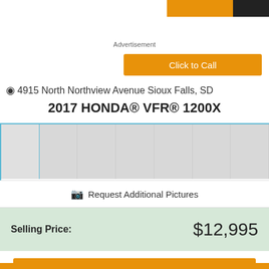Advertisement
Click to Call
♦ 4915 North Northview Avenue Sioux Falls, SD
2017 HONDA® VFR® 1200X
[Figure (photo): Row of thumbnail image placeholders (gray boxes) for vehicle photos, first one highlighted with blue border]
Request Additional Pictures
Selling Price: $12,995
Click to Call